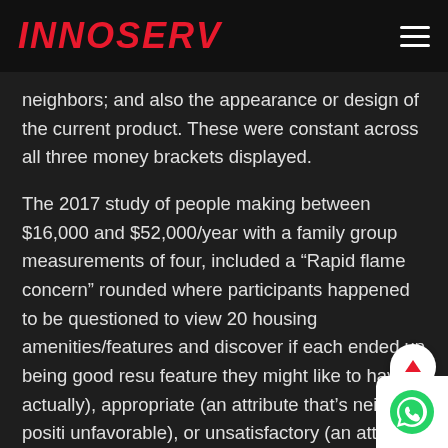INNOSERV
neighbors; and also the appearance or design of the current product. These were constant across all three money brackets displayed.
The 2017 study of people making between $16,000 and $52,000/year with a family group measurements of four, included a “Rapid flame concern” rounded where participants happened to be questioned to view 20 housing amenities/features and discover if each ended up being good resu feature they might like to have actually), appropriate (an attribute that’s neither positi unfavorable), or unsatisfactory (an attribute that